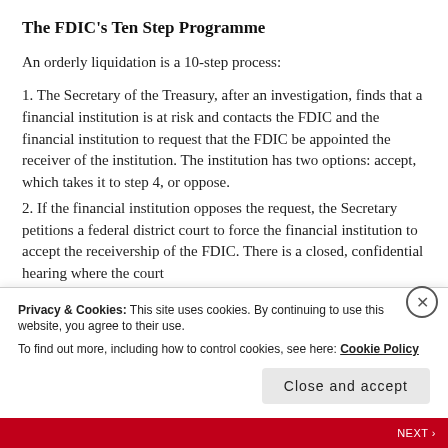The FDIC's Ten Step Programme
An orderly liquidation is a 10-step process:
1. The Secretary of the Treasury, after an investigation, finds that a financial institution is at risk and contacts the FDIC and the financial institution to request that the FDIC be appointed the receiver of the institution. The institution has two options: accept, which takes it to step 4, or oppose.
2. If the financial institution opposes the request, the Secretary petitions a federal district court to force the financial institution to accept the receivership of the FDIC. There is a closed, confidential hearing where the court determines...
Privacy & Cookies: This site uses cookies. By continuing to use this website, you agree to their use.
To find out more, including how to control cookies, see here: Cookie Policy
Close and accept